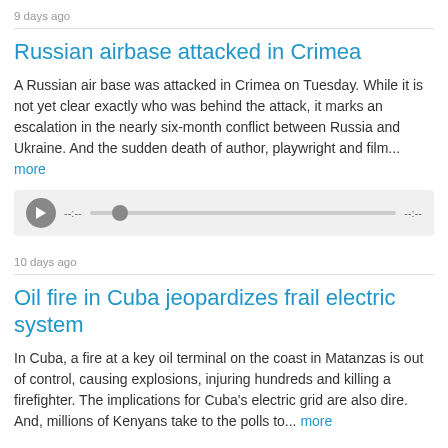9 days ago
Russian airbase attacked in Crimea
A Russian air base was attacked in Crimea on Tuesday. While it is not yet clear exactly who was behind the attack, it marks an escalation in the nearly six-month conflict between Russia and Ukraine. And the sudden death of author, playwright and film... more
[Figure (other): Audio player with play button, progress bar, and timestamps --:-- and --:--]
10 days ago
Oil fire in Cuba jeopardizes frail electric system
In Cuba, a fire at a key oil terminal on the coast in Matanzas is out of control, causing explosions, injuring hundreds and killing a firefighter. The implications for Cuba's electric grid are also dire. And, millions of Kenyans take to the polls to... more